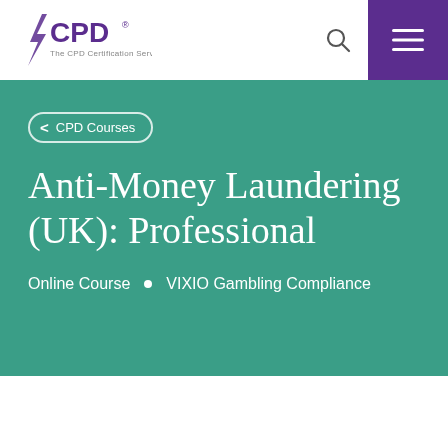[Figure (logo): CPD Certification Service logo with purple lightning bolt]
[Figure (other): Search icon (magnifying glass)]
[Figure (other): Purple hamburger menu button top-right]
< CPD Courses
Anti-Money Laundering (UK): Professional
Online Course • VIXIO Gambling Compliance